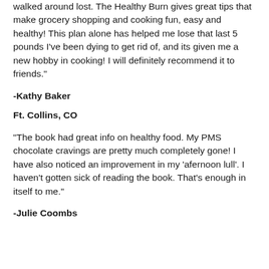walked around lost. The Healthy Burn gives great tips that make grocery shopping and cooking fun, easy and healthy! This plan alone has helped me lose that last 5 pounds I've been dying to get rid of, and its given me a new hobby in cooking! I will definitely recommend it to friends."
-Kathy Baker
Ft. Collins, CO
“The book had great info on healthy food. My PMS chocolate cravings are pretty much completely gone! I have also noticed an improvement in my ‘afernoon lull’. I haven't gotten sick of reading the book. That's enough in itself to me."
-Julie Coombs